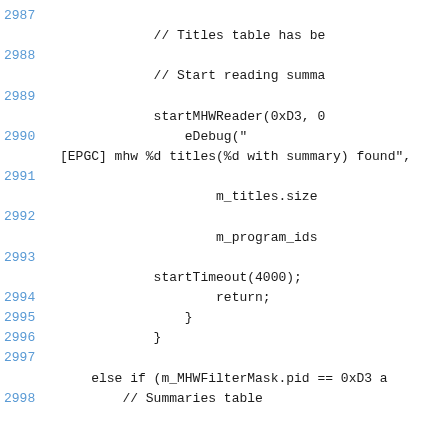2987
    // Titles table has be
2988
    // Start reading summa
2989
        startMHWReader(0xD3, 0
2990          eDebug("
[EPGC] mhw %d titles(%d with summary) found",
2991
                m_titles.size
2992
                m_program_ids
2993
        startTimeout(4000);
2994              return;
2995            }
2996        }
2997
    else if (m_MHWFilterMask.pid == 0xD3 a
2998      // Summaries table